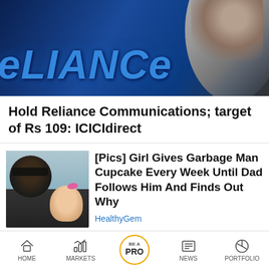[Figure (photo): Photo showing the Reliance logo in blue metallic text with a person in a suit visible on the right side]
Hold Reliance Communications; target of Rs 109: ICICIdirect
[Figure (photo): Thumbnail photo of a man and a young girl with a pink bow]
[Pics] Girl Gives Garbage Man Cupcake Every Week Until Dad Follows Him And Finds Out Why
HealthyGem
Asian shares rise as hopes for audit deal
See the next Neeraj Chopra, Mithali Raj,
HOME   MARKETS   BE A PRO   NEWS   PORTFOLIO